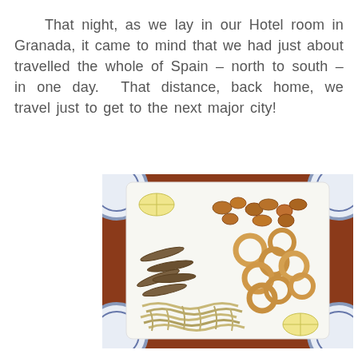That night, as we lay in our Hotel room in Granada, it came to mind that we had just about travelled the whole of Spain – north to south – in one day. That distance, back home, we travel just to get to the next major city!
[Figure (photo): A white rectangular plate of mixed fried seafood (calamari rings, anchovies, fried pieces, and shredded seafood) with lemon wedges, on a dark reddish-brown wooden table with decorative blue and white plates partially visible in the corners.]